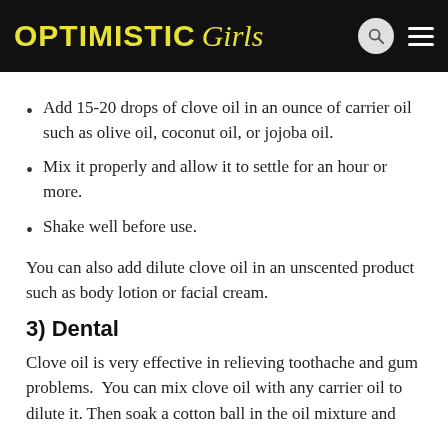OPTIMISTIC Girls
Add 15-20 drops of clove oil in an ounce of carrier oil such as olive oil, coconut oil, or jojoba oil.
Mix it properly and allow it to settle for an hour or more.
Shake well before use.
You can also add dilute clove oil in an unscented product such as body lotion or facial cream.
3) Dental
Clove oil is very effective in relieving toothache and gum problems.  You can mix clove oil with any carrier oil to dilute it. Then soak a cotton ball in the oil mixture and